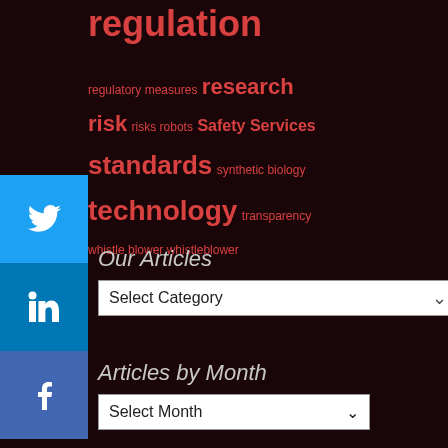regulation
regulatory measures research risk risks robots Safety Services standards synthetic biology technology transparency whistle blower whistleblower
[Figure (other): Twitter social share button icon]
[Figure (other): LinkedIn social share button icon]
[Figure (other): Facebook social share button icon]
Our Articles
Select Category
Articles by Month
Select Month